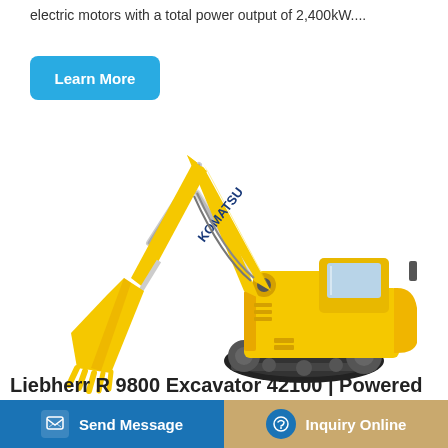electric motors with a total power output of 2,400kW....
[Figure (other): Learn More button — rounded teal/cyan rectangle with white bold text 'Learn More']
[Figure (photo): A large yellow Komatsu hydraulic excavator with a long boom and bucket, shown in profile on a white background. The machine has tracked undercarriage and the Komatsu logo is visible on the boom.]
Liebherr R 9800 Excavator 42100 | Powered
[Figure (other): Bottom navigation bar with two buttons: 'Send Message' on a blue background (left) and 'Inquiry Online' on a tan/gold background (right).]